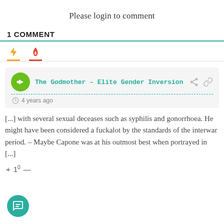Please login to comment
1 COMMENT
[Figure (other): Two tab icons: lightning bolt (yellow/orange) and fire (red/orange) with colored underlines]
The Godmother – Elite Gender Inversion
4 years ago
[...] with several sexual deceases such as syphilis and gonorrhoea. He might have been considered a fuckalot by the standards of the interwar period. – Maybe Capone was at his outmost best when portrayed in [...]
+ 10 —